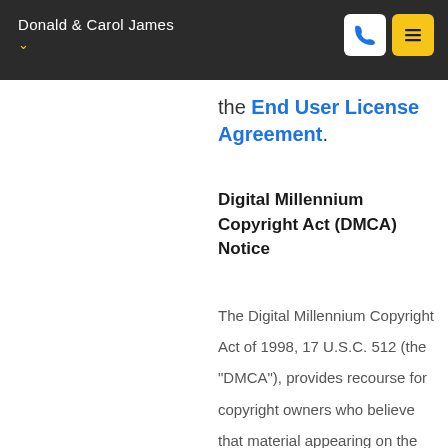Donald & Carol James
the End User License Agreement.
Digital Millennium Copyright Act (DMCA) Notice
The Digital Millennium Copyright Act of 1998, 17 U.S.C. 512 (the "DMCA"), provides recourse for copyright owners who believe that material appearing on the Internet infringes their rights under U.S. copyright law. If you believe in good faith that any